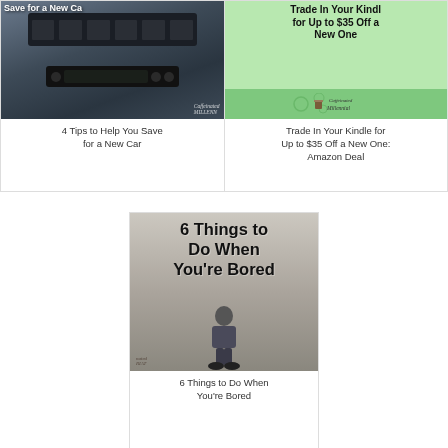[Figure (photo): Thumbnail image of a car dashboard interior with overlay text 'Save for a New Ca[r]']
4 Tips to Help You Save for a New Car
[Figure (photo): Green background card with text 'Trade In Your Kindle for Up to $35 Off a New One' and Caffeinated Millennial logo]
Trade In Your Kindle for Up to $35 Off a New One: Amazon Deal
[Figure (photo): Image with bold text '6 Things to Do When You're Bored' overlaid on photo of person sitting on ground]
6 Things to Do When You're Bored